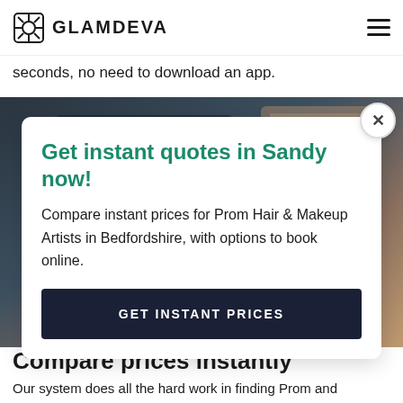GLAMDEVA
seconds, no need to download an app.
[Figure (photo): Background photo showing a laptop/tablet on a wooden surface with tech items]
Get instant quotes in Sandy now!
Compare instant prices for Prom Hair & Makeup Artists in Bedfordshire, with options to book online.
GET INSTANT PRICES
Compare prices instantly
Our system does all the hard work in finding Prom and